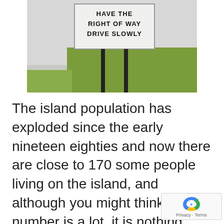[Figure (photo): Photograph of a road sign reading 'HAVE THE RIGHT OF WAY DRIVE SLOWLY' mounted on two black posts in an outdoor setting with grass and a light-colored road or path in the background.]
The island population has exploded since the early nineteen eighties and now there are close to 170 some people living on the island, and although you might think this number is a lot, it is nothing compared to the two thousand rock iguanas living on the island...